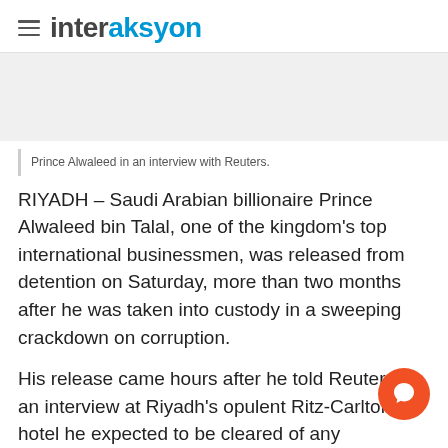interaksyon
[Figure (photo): Advertisement / image placeholder area]
Prince Alwaleed in an interview with Reuters.
RIYADH – Saudi Arabian billionaire Prince Alwaleed bin Talal, one of the kingdom's top international businessmen, was released from detention on Saturday, more than two months after he was taken into custody in a sweeping crackdown on corruption.
His release came hours after he told Reuters in an interview at Riyadh's opulent Ritz-Carlton hotel he expected to be cleared of any wrongdoing and be freed within days.